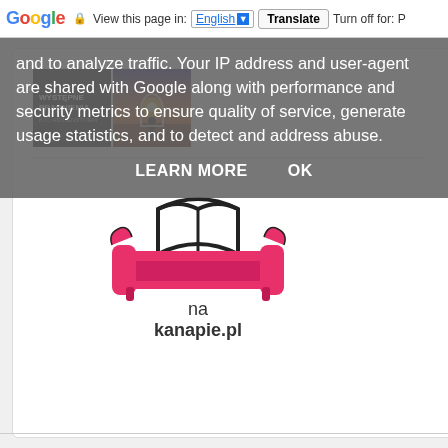Google  View this page in: English [v]  Translate  Turn off for: P
and to analyze traffic. Your IP address and user-agent are shared with Google along with performance and security metrics to ensure quality of service, generate usage statistics, and to detect and address abuse.
LEARN MORE   OK
[Figure (logo): nakanapie.pl logo — pink sofa with open book on top, text reads 'na kanapie.pl']
[Figure (photo): Book cover: WYSTEPNE PRAGNIENIA by K.C. HIDDENSTORM, dark background]
[Figure (photo): Book cover: scenic landscape with silhouette of person, sunset sky]